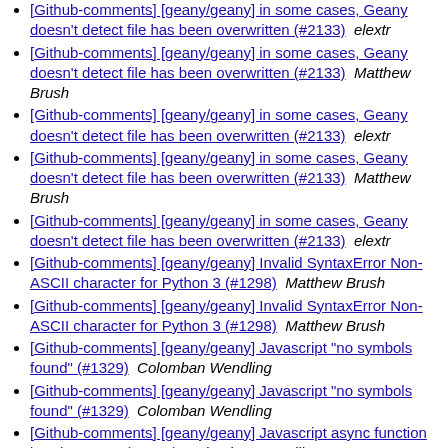[Github-comments] [geany/geany] in some cases, Geany doesn't detect file has been overwritten (#2133)  elextr
[Github-comments] [geany/geany] in some cases, Geany doesn't detect file has been overwritten (#2133)  Matthew Brush
[Github-comments] [geany/geany] in some cases, Geany doesn't detect file has been overwritten (#2133)  elextr
[Github-comments] [geany/geany] in some cases, Geany doesn't detect file has been overwritten (#2133)  Matthew Brush
[Github-comments] [geany/geany] in some cases, Geany doesn't detect file has been overwritten (#2133)  elextr
[Github-comments] [geany/geany] Invalid SyntaxError Non-ASCII character for Python 3 (#1298)  Matthew Brush
[Github-comments] [geany/geany] Invalid SyntaxError Non-ASCII character for Python 3 (#1298)  Matthew Brush
[Github-comments] [geany/geany] Javascript "no symbols found" (#1329)  Colomban Wendling
[Github-comments] [geany/geany] Javascript "no symbols found" (#1329)  Colomban Wendling
[Github-comments] [geany/geany] Javascript async function breaks parser (#1933)  Colomban Wendling
[Github-comments] [geany/geany] Javascript async function breaks parser (#1933)  Colomban Wendling
[Github-comments] [geany/geany] Javascript async function breaks parser (#1933)